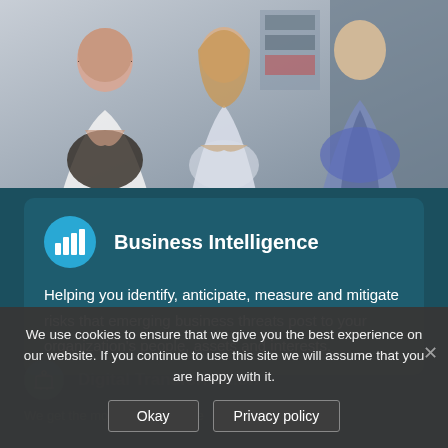[Figure (photo): Three people sitting and having a business discussion in an office environment. Two women and one man, casually dressed, appear to be in a meeting or conversation.]
Business Intelligence
Helping you identify, anticipate, measure and mitigate risks that emerging business threats post to your organization's people, assets and interests.
We use cookies to ensure that we give you the best experience on our website. If you continue to use this site we will assume that you are happy with it.
Okay   Privacy policy
Digital Transformation
We get the mo... te... king it the